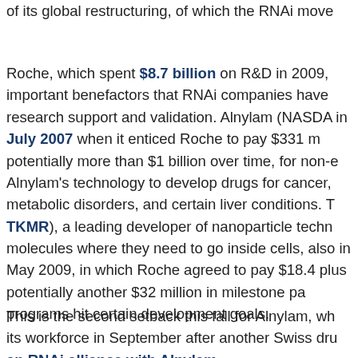of its global restructuring, of which the RNAi move
Roche, which spent $8.7 billion on R&D in 2009, important benefactors that RNAi companies have research support and validation. Alnylam (NASDA in July 2007 when it enticed Roche to pay $331 m potentially more than $1 billion over time, for non-e Alnylam's technology to develop drugs for cancer, metabolic disorders, and certain liver conditions. T TKMR), a leading developer of nanoparticle techn molecules where they need to go inside cells, also in May 2009, in which Roche agreed to pay $18.4 plus potentially another $32 million in milestone pa programs hit certain development goals.
This is the second setback this fall for Alnylam, wh its workforce in September after another Swiss dru an RNAi alliance with Alnylam.